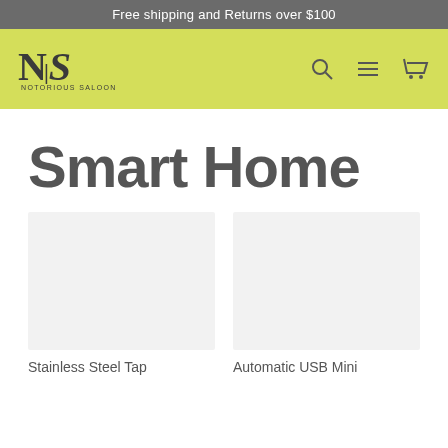Free shipping and Returns over $100
[Figure (logo): Notorious Saloon NS logo with serif N and italic S, text 'NOTORIOUS SALOON' below]
[Figure (other): Navigation icons: search magnifier, hamburger menu, shopping cart]
Smart Home
Stainless Steel Tap
Automatic USB Mini